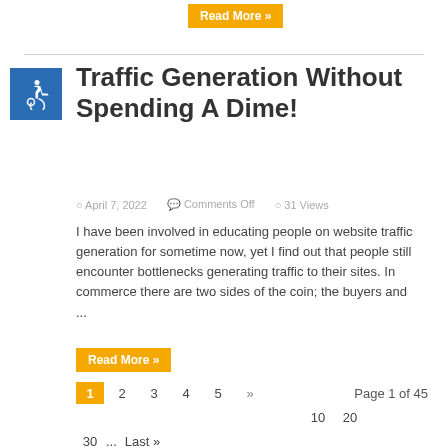Read More »
Traffic Generation Without Spending A Dime!
April 7, 2022   Comments Off   31 Views
I have been involved in educating people on website traffic generation for sometime now, yet I find out that people still encounter bottlenecks generating traffic to their sites. In commerce there are two sides of the coin; the buyers and ...
Read More »
1  2  3  4  5  »   Page 1 of 45  10  20  30  ...  Last »